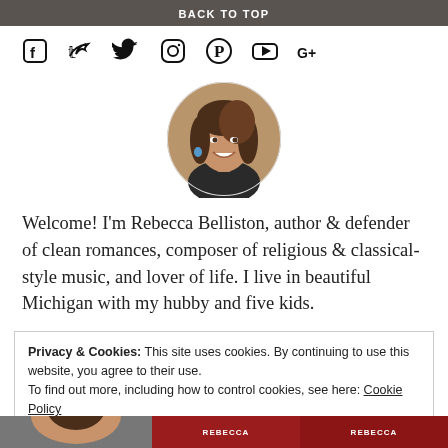BACK TO TOP
[Figure (other): Row of social media icons: Facebook, Twitter, Instagram, Pinterest, YouTube, Google+]
[Figure (photo): Circular profile photo of a woman with brown hair, smiling]
Welcome! I'm Rebecca Belliston, author & defender of clean romances, composer of religious & classical-style music, and lover of life. I live in beautiful Michigan with my hubby and five kids.
Privacy & Cookies: This site uses cookies. By continuing to use this website, you agree to their use.
To find out more, including how to control cookies, see here: Cookie Policy
[Figure (screenshot): Bottom strip showing three partial book cover thumbnails, one with a dark/photo background and two with red/dark backgrounds labeled REBECCA]